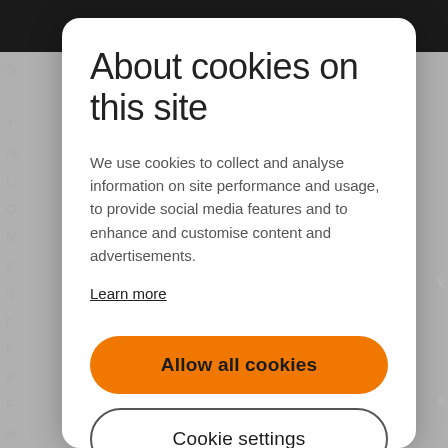About cookies on this site
We use cookies to collect and analyse information on site performance and usage, to provide social media features and to enhance and customise content and advertisements.
Learn more
[Figure (screenshot): Orange pill button labeled 'Allow all cookies']
[Figure (screenshot): White pill button with border labeled 'Cookie settings']